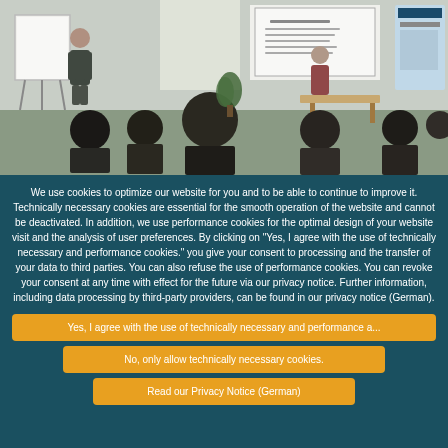[Figure (photo): Classroom or workshop setting showing a presenter standing near a whiteboard/flipchart on the left, another person in the background near a projection screen, and several participants seated in a semicircle arrangement in an office/training room environment.]
We use cookies to optimize our website for you and to be able to continue to improve it. Technically necessary cookies are essential for the smooth operation of the website and cannot be deactivated. In addition, we use performance cookies for the optimal design of your website visit and the analysis of user preferences. By clicking on "Yes, I agree with the use of technically necessary and performance cookies." you give your consent to processing and the transfer of your data to third parties. You can also refuse the use of performance cookies. You can revoke your consent at any time with effect for the future via our privacy notice. Further information, including data processing by third-party providers, can be found in our privacy notice (German).
Yes, I agree with the use of technically necessary and performance a...
No, only allow technically necessary cookies.
Read our Privacy Notice (German)